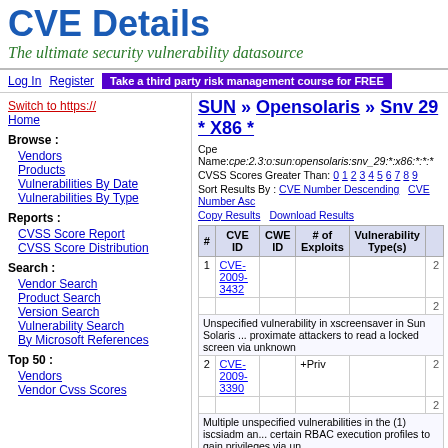CVE Details
The ultimate security vulnerability datasource
Log In  Register  Take a third party risk management course for FREE
Switch to https://
Home
Browse :
Vendors
Products
Vulnerabilities By Date
Vulnerabilities By Type
Reports :
CVSS Score Report
CVSS Score Distribution
Search :
Vendor Search
Product Search
Version Search
Vulnerability Search
By Microsoft References
Top 50 :
Vendors
Vendor Cvss Scores
SUN » Opensolaris » Snv 29 * X86 *
Cpe Name:cpe:2.3:o:sun:opensolaris:snv_29:*:x86:*:*:*
CVSS Scores Greater Than: 0 1 2 3 4 5 6 7 8 9
Sort Results By : CVE Number Descending  CVE Number Asc
Copy Results  Download Results
| # | CVE ID | CWE ID | # of Exploits | Vulnerability Type(s) |  |
| --- | --- | --- | --- | --- | --- |
| 1 | CVE-2009-3432 |  |  |  | 2 |
|  |  |  |  |  | 2 |
|  | Unspecified vulnerability in xscreensaver in Sun Solaris ... proximate attackers to read a locked screen via unknown |  |  |  |  |
| 2 | CVE-2009-3390 |  | +Priv |  | 2 |
|  |  |  |  |  | 2 |
|  | Multiple unspecified vulnerabilities in the (1) iscsiadm an... certain RBAC execution profiles to gain privileges via un |  |  |  |  |
| 3 | CVE-2009-3183 | 119 | Overflow +Priv |  | 2 |